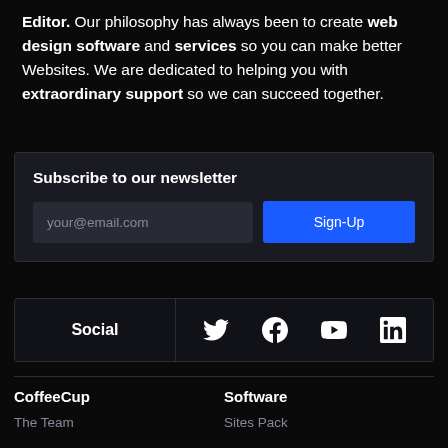Editor. Our philosophy has always been to create web design software and services so you can make better Websites. We are dedicated to helping you with extraordinary support so we can succeed together.
Subscribe to our newsletter
your@email.com
Sign-Up
Social
[Figure (infographic): Social media icons: Twitter, Facebook, YouTube, LinkedIn]
CoffeeCup
Software
The Team
Sites Pack